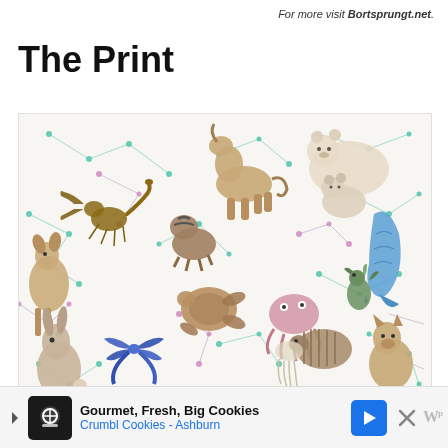For more visit Bortsprungt.net.
The Print
[Figure (illustration): A detailed illustrated print featuring various animals and fantasy creatures arranged with constellation line patterns on a white background. Animals include a scorpion, horse/unicorn, polar bears, mermaid tail, sea turtle, octopus/crab, rabbit, deer, armadillo, and others. Colorful dot-and-line constellation patterns connect throughout the design.]
Gourmet, Fresh, Big Cookies Crumbl Cookies - Ashburn